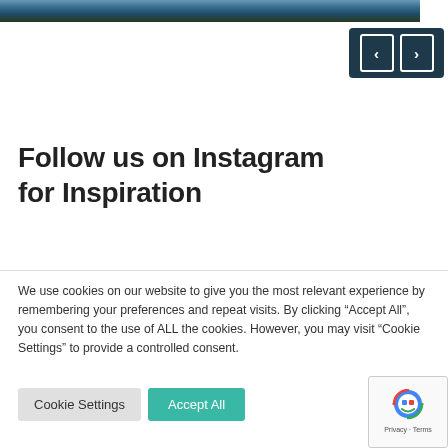[Figure (photo): Partial landscape photo strip at the top showing a dark forested mountain scene with blue sky]
[Figure (other): Dark teal navigation control with left and right arrow buttons in white bordered rectangles]
Follow us on Instagram for Inspiration
We use cookies on our website to give you the most relevant experience by remembering your preferences and repeat visits. By clicking "Accept All", you consent to the use of ALL the cookies. However, you may visit "Cookie Settings" to provide a controlled consent.
[Figure (other): Cookie Settings button (gray) and Accept All button (teal/green) along with reCAPTCHA badge showing robot icon and Privacy - Terms text]